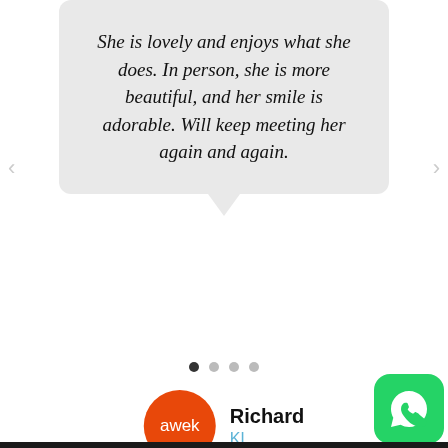She is lovely and enjoys what she does. In person, she is more beautiful, and her smile is adorable. Will keep meeting her again and again.
[Figure (illustration): Orange circular avatar with white text 'awek' representing a user profile logo]
Richard
KL
[Figure (other): Carousel navigation dots — 4 dots, first one filled/active, remaining three grey/inactive]
[Figure (logo): WhatsApp green rounded square icon in bottom right corner]